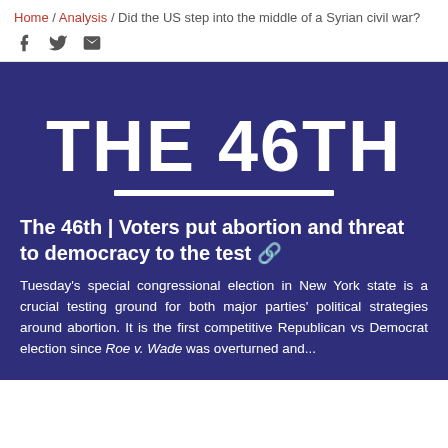Home / Analysis / Did the US step into the middle of a Syrian civil war?
[Figure (logo): THE 46TH logo in large white bold text on dark blue background with white underline]
The 46th | Voters put abortion and threat to democracy to the test 🔗
Tuesday's special congressional election in New York state is a crucial testing ground for both major parties' political strategies around abortion. It is the first competitive Republican vs Democrat election since Roe v. Wade was overturned and...